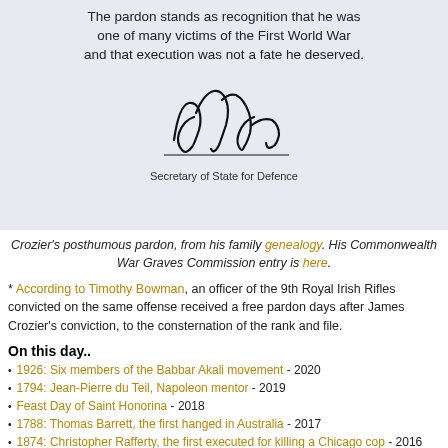[Figure (photo): Scanned pardon document showing text and a signature above 'Secretary of State for Defence']
Crozier's posthumous pardon, from his family genealogy. His Commonwealth War Graves Commission entry is here.
* According to Timothy Bowman, an officer of the 9th Royal Irish Rifles convicted on the same offense received a free pardon days after James Crozier's conviction, to the consternation of the rank and file.
On this day..
1926: Six members of the Babbar Akali movement - 2020
1794: Jean-Pierre du Teil, Napoleon mentor - 2019
Feast Day of Saint Honorina - 2018
1788: Thomas Barrett, the first hanged in Australia - 2017
1874: Christopher Rafferty, the first executed for killing a Chicago cop - 2016
1786: Joseph Rickards, aspiring milkman - 2015
1947: Walter Graham Rowland - 2014
1925: Jovan Stanisavljevic Caruga, Slavonian hajduk - 2013
1845: Maria Trinidad Sanchez, Dominican Republic heroine - 2012
1601: St. Anne Line - 2011